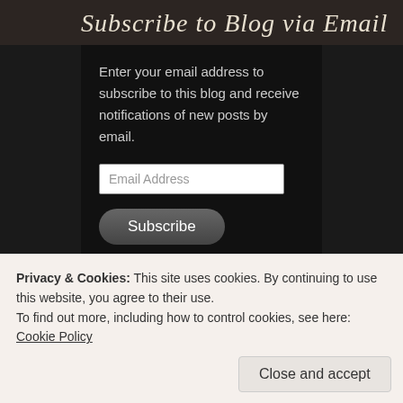Subscribe to Blog via Email
Enter your email address to subscribe to this blog and receive notifications of new posts by email.
Join 958 other subscribers
Connect with me on social media!
Privacy & Cookies: This site uses cookies. By continuing to use this website, you agree to their use.
To find out more, including how to control cookies, see here: Cookie Policy